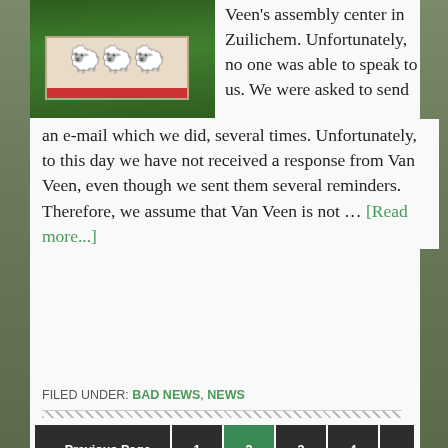[Figure (photo): Photo of a sign with sheep/lambs on it, in front of green hedges]
Veen's assembly center in Zuilichem. Unfortunately, no one was able to speak to us. We were asked to send an e-mail which we did, several times. Unfortunately, to this day we have not received a response from Van Veen, even though we sent them several reminders. Therefore, we assume that Van Veen is not … [Read more...]
FILED UNDER: BAD NEWS, NEWS
« Previous Page  1  2  3  4  ...  11  Next Page »